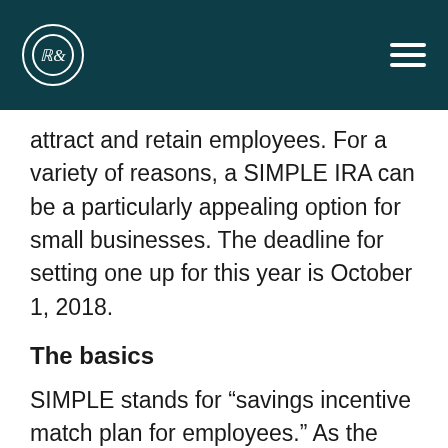R& [logo]
attract and retain employees. For a variety of reasons, a SIMPLE IRA can be a particularly appealing option for small businesses. The deadline for setting one up for this year is October 1, 2018.
The basics
SIMPLE stands for “savings incentive match plan for employees.” As the name implies, these plans are simple to set up and administer. Unlike 401(k) plans, SIMPLE IRAs